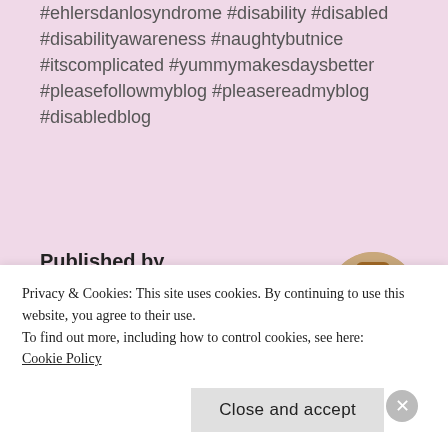#ehlersdanlosyndrome #disability #disabled #disabilityawareness #naughtybutnice #itscomplicated #yummymakesdaysbetter #pleasefollowmyblog #pleasereadmyblog #disabledblog
Published by TheCraftyInsomniac
View all posts by TheCraftyInsomniac
[Figure (photo): Circular avatar photo of a smiling woman with brown hair wearing a hat]
Privacy & Cookies: This site uses cookies. By continuing to use this website, you agree to their use.
To find out more, including how to control cookies, see here: Cookie Policy
Close and accept